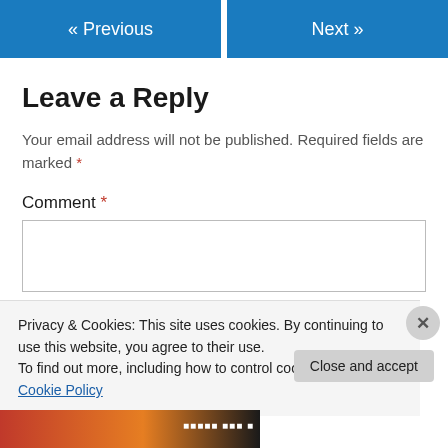[Figure (other): Navigation bar with two blue buttons: « Previous (left) and Next » (right)]
Leave a Reply
Your email address will not be published. Required fields are marked *
Comment *
[Figure (screenshot): Empty comment text area input box]
Privacy & Cookies: This site uses cookies. By continuing to use this website, you agree to their use.
To find out more, including how to control cookies, see here: Cookie Policy
Close and accept